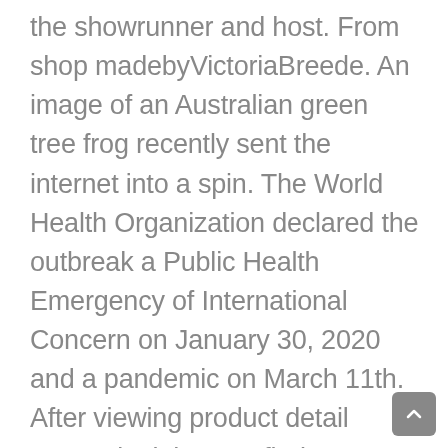the showrunner and host. From shop madebyVictoriaBreede. An image of an Australian green tree frog recently sent the internet into a spin. The World Health Organization declared the outbreak a Public Health Emergency of International Concern on January 30, 2020 and a pandemic on March 11th. After viewing product detail pages, look here to find an easy way to navigate back to pages you are interested in. Now a version of the mask story is repeating itself — this time involving the vaccines. Laurence Fox has angered people with his latest COVID post (Photo by David M. Benett/Dave Benett/Getty Images for Walpole) Laurence Fox has provoked another angry reaction to his coronavirus pandemic behaviour, this time by showing off a mask